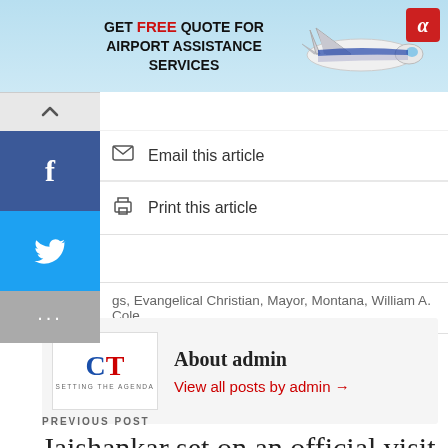[Figure (other): Advertisement banner with light blue background showing airplane, red alpha logo icon, and text: GET FREE QUOTE FOR AIRPORT ASSISTANCE SERVICES]
Email this article
Print this article
gs, Evangelical Christian, Mayor, Montana, William A. Cole
About admin
View all posts by admin →
PREVIOUS POST
Jaishankar set on an official visit to the Republic of K…